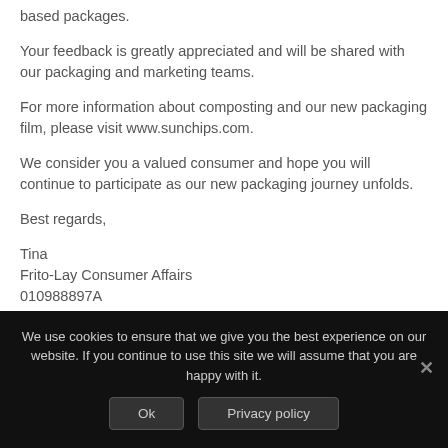based packages.
Your feedback is greatly appreciated and will be shared with our packaging and marketing teams.
For more information about composting and our new packaging film, please visit www.sunchips.com.
We consider you a valued consumer and hope you will continue to participate as our new packaging journey unfolds.
Best regards,
Tina
Frito-Lay Consumer Affairs
010988897A
We use cookies to ensure that we give you the best experience on our website. If you continue to use this site we will assume that you are happy with it.